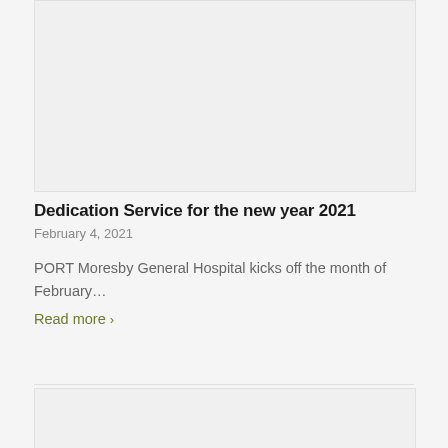[Figure (photo): Image placeholder area at top of article card]
Dedication Service for the new year 2021
February 4, 2021
PORT Moresby General Hospital kicks off the month of February…
Read more ›
[Figure (photo): Image placeholder area at bottom of page]